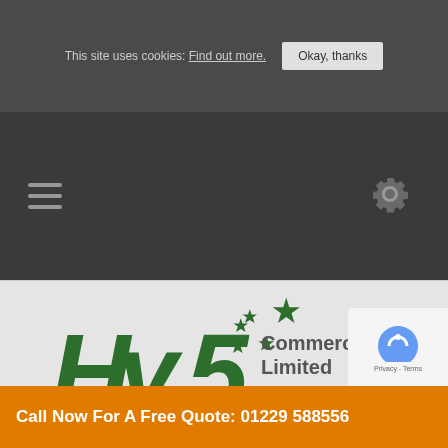This site uses cookies: Find out more. Okay, thanks
[Figure (logo): Hy5 Commercial Cleaning Limited logo with stars and tagline 'Raising expectations to a 5 star standard']
Call 01229 588556
Call Now For A Free Quote: 01229 588556